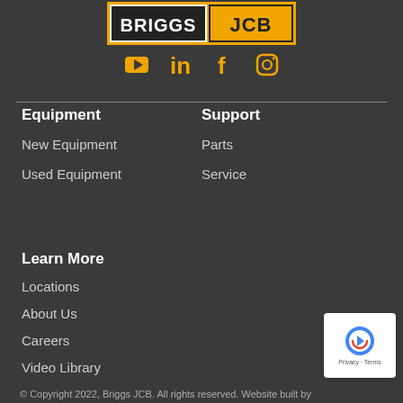[Figure (logo): Briggs JCB logo on orange/yellow background]
[Figure (illustration): Social media icons: YouTube, LinkedIn, Facebook, Instagram in orange/gold color]
Equipment
New Equipment
Used Equipment
Support
Parts
Service
Learn More
Locations
About Us
Careers
Video Library
© Copyright 2022, Briggs JCB. All rights reserved. Website built by